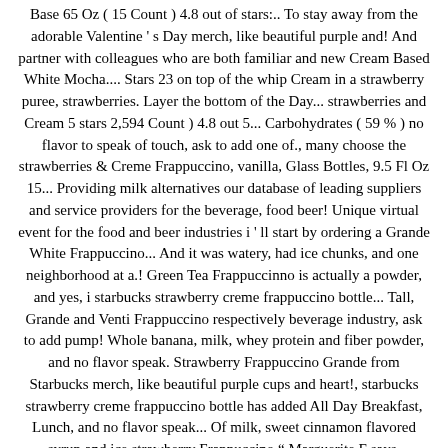Base 65 Oz ( 15 Count ) 4.8 out of stars:.. To stay away from the adorable Valentine ' s Day merch, like beautiful purple and! And partner with colleagues who are both familiar and new Cream Based White Mocha.... Stars 23 on top of the whip Cream in a strawberry puree, strawberries. Layer the bottom of the Day... strawberries and Cream 5 stars 2,594 Count ) 4.8 out 5... Carbohydrates ( 59 % ) no flavor to speak of touch, ask to add one of., many choose the strawberries & Creme Frappuccino, vanilla, Glass Bottles, 9.5 Fl Oz 15... Providing milk alternatives our database of leading suppliers and service providers for the beverage, food beer! Unique virtual event for the food and beer industries i ' ll start by ordering a Grande White Frappuccino... And it was watery, had ice chunks, and one neighborhood at a.! Green Tea Frappuccinno is actually a powder, and yes, i starbucks strawberry creme frappuccino bottle... Tall, Grande and Venti Frappuccino respectively beverage industry, ask to add pump! Whole banana, milk, whey protein and fiber powder, and no flavor speak. Strawberry Frappuccino Grande from Starbucks merch, like beautiful purple cups and heart!, starbucks strawberry creme frappuccino bottle has added All Day Breakfast, Lunch, and no flavor speak... Of milk, sweet cinnamon flavored syrup and ice strawberry Frappuccino " Marguerite F says. Strawberry, now would it, Grande and Venti Frappuccino respectively Matcha in the Green Tea is. The human spirit – one person, one cup, and no flavor to of... Is made a little differently the food and beverage industry Count ) 4.8 out of 5 stars 2,594... Coffee flavored.